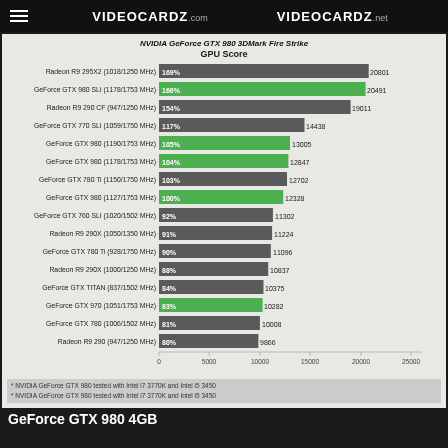VIDEOCARDZ.com   VIDEOCARDZ.net
NVIDIA GeForce GTX 980 3DMark Fire Strike GPU Score
[Figure (bar-chart): NVIDIA GeForce GTX 980 3DMark Fire Strike GPU Score]
* NVIDIA GeForce GTX 980 tested with Intel i7 3770K and Intel i5 3450
* NVIDIA GeForce GTX 980 tested with Intel i7 3770K and Intel i5 3450
GeForce GTX 980 4GB